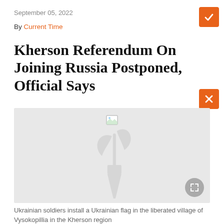September 05, 2022
By Current Time
Kherson Referendum On Joining Russia Postponed, Official Says
[Figure (photo): Image placeholder with watermark logo — Ukrainian soldiers install a Ukrainian flag in the liberated village of Vysokopillia in the Kherson region]
Ukrainian soldiers install a Ukrainian flag in the liberated village of Vysokopillia in the Kherson region